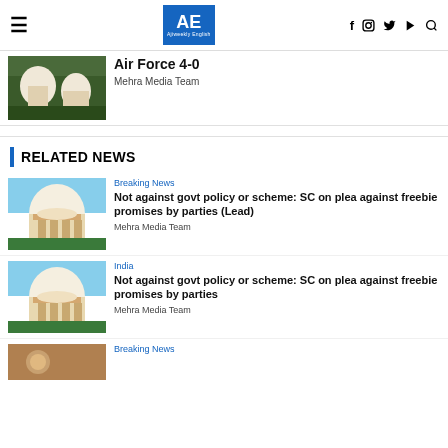AE Ajiweekly English — f  instagram  twitter  youtube  search
Air Force 4-0
Mehra Media Team
RELATED NEWS
Breaking News
Not against govt policy or scheme: SC on plea against freebie promises by parties (Lead)
Mehra Media Team
India
Not against govt policy or scheme: SC on plea against freebie promises by parties
Mehra Media Team
Breaking News